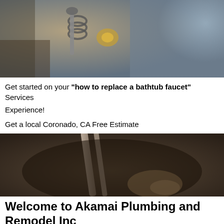[Figure (photo): Close-up photo of metal plumbing faucet parts, wrench, spring coil, and fittings with blurred background]
Get started on your "how to replace a bathtub faucet" Services Experience!
Get a local Coronado, CA Free Estimate
[Figure (photo): Close-up photo of a wrench or plumbing tool being used, hand partially visible, dark background]
Welcome to Akamai Plumbing and Remodel Inc
We here at Akamai Plumbing and Remodel Inc are grateful for the opportunity to work with you on your how to replace a bathtub faucet project in the Coronado, CA area. We believe in putting forth great work for fair prices and treating our clients with